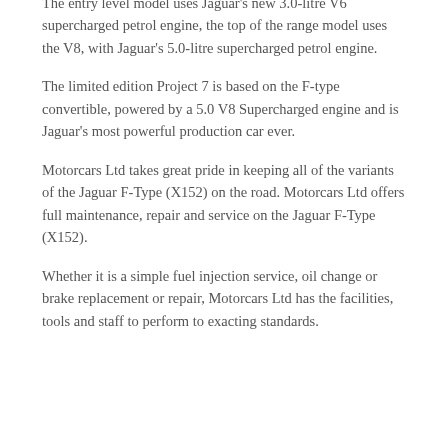The entry level model uses Jaguar's new 3.0-litre V6 supercharged petrol engine, the top of the range model uses the V8, with Jaguar's 5.0-litre supercharged petrol engine.
The limited edition Project 7 is based on the F-type convertible, powered by a 5.0 V8 Supercharged engine and is Jaguar's most powerful production car ever.
Motorcars Ltd takes great pride in keeping all of the variants of the Jaguar F-Type (X152) on the road. Motorcars Ltd offers full maintenance, repair and service on the Jaguar F-Type (X152).
Whether it is a simple fuel injection service, oil change or brake replacement or repair, Motorcars Ltd has the facilities, tools and staff to perform to exacting standards.